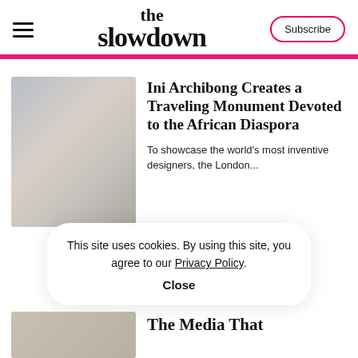the slowdown
[Figure (screenshot): Cookie consent banner overlay]
Ini Archibong Creates a Traveling Monument Devoted to the African Diaspora
To showcase the world's most inventive designers, the London...
This site uses cookies. By using this site, you agree to our Privacy Policy. Close
The Media That